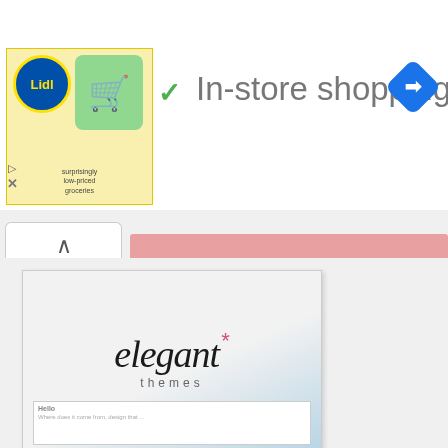[Figure (screenshot): Ad banner with Lidl logo and green shopping cart icon, checkmark and 'In-store shopping' text, blue navigation diamond icon]
[Figure (logo): Elegant Themes WordPress Themes advertisement image with elegant themes logo and WordPress Themes ribbon banner]
My Friends
7binaryoptions.com
Browse Ideas
Coolvibe
curtainhomesale